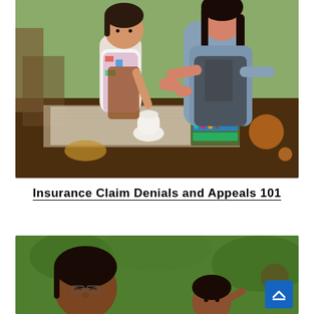[Figure (photo): A woman and a young child working together on a craft or art project at a wooden table, with watercolors, clay, and newspaper spread out.]
Insurance Claim Denials and Appeals 101
[Figure (photo): Close-up of a woman and child against a green outdoor background.]